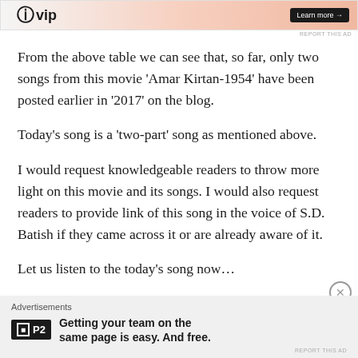[Figure (other): WordPress VIP advertisement banner at top with gradient background and Learn more button]
From the above table we can see that, so far, only two songs from this movie ‘Amar Kirtan-1954’ have been posted earlier in ‘2017’ on the blog.
Today’s song is a ‘two-part’ song as mentioned above.
I would request knowledgeable readers to throw more light on this movie and its songs. I would also request readers to provide link of this song in the voice of S.D. Batish if they came across it or are already aware of it.
Let us listen to the today’s song now…
[Figure (other): P2 advertisement banner at bottom with tagline: Getting your team on the same page is easy. And free.]